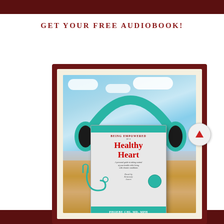GET YOUR FREE AUDIOBOOK!
[Figure (illustration): Book cover for 'Being Empowered for a Healthy Heart' by Phoebe Chi, MD, MPH, shown as an audiobook with teal headphones over it, displayed in a dark brown wooden frame. The book shows a stethoscope and heart on a wooden table background with blue sky. Author note says 'Read by Kennedy Jones'.]